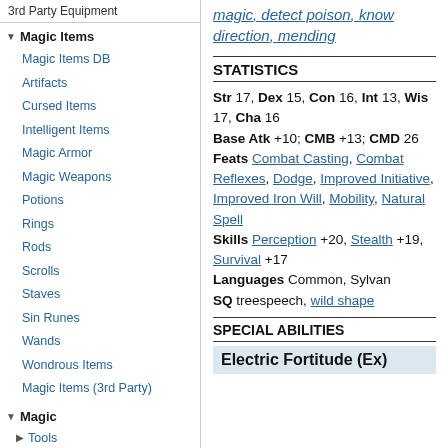3rd Party Equipment
Magic Items
Magic Items DB
Artifacts
Cursed Items
Intelligent Items
Magic Armor
Magic Weapons
Potions
Rings
Rods
Scrolls
Staves
Sin Runes
Wands
Wondrous Items
Magic Items (3rd Party)
Magic
Tools
Space, Reach, & Threatened Area Templates
Spells (Paizo)
Spells (3rd Party)
Preconstructed Spellbooks
magic, detect poison, know direction, mending
STATISTICS
Str 17, Dex 15, Con 16, Int 13, Wis 17, Cha 16
Base Atk +10; CMB +13; CMD 26
Feats Combat Casting, Combat Reflexes, Dodge, Improved Initiative, Improved Iron Will, Mobility, Natural Spell
Skills Perception +20, Stealth +19, Survival +17
Languages Common, Sylvan
SQ treespeech, wild shape
SPECIAL ABILITIES
Electric Fortitude (Ex)